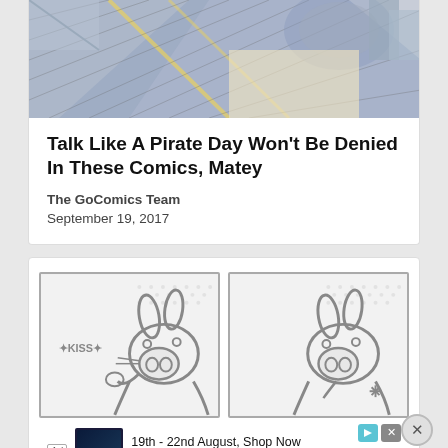[Figure (illustration): Top portion of a comic strip image showing a figure in blue/gray tones with yellow accents, partially cropped]
Talk Like A Pirate Day Won't Be Denied In These Comics, Matey
The GoComics Team
September 19, 2017
[Figure (illustration): Two comic panels side by side, each showing a cartoon rabbit-like character with large ears and round nose. Left panel has text 'KISS' with star symbols. Right panel shows the character from a slightly different angle.]
Ad  19th - 22nd August, Shop Now  Zavvi
Report an ad  Shop now